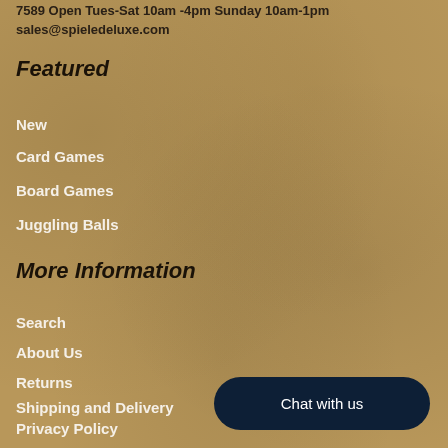7589 Open Tues-Sat 10am -4pm Sunday 10am-1pm sales@spieledeluxe.com
Featured
New
Card Games
Board Games
Juggling Balls
More Information
Search
About Us
Returns
Shipping and Delivery
Privacy Policy
Terms and Conditions
Chat with us